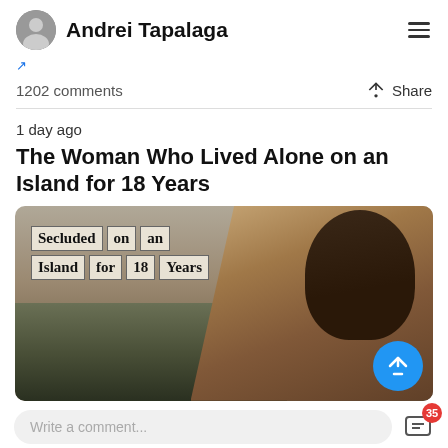Andrei Tapalaga
1202 comments
Share
1 day ago
The Woman Who Lived Alone on an Island for 18 Years
[Figure (photo): Sepia-toned historical photo of a Native American woman with long dark hair, looking directly at camera. Text overlay reads: 'Secluded on an Island for 18 Years'. Background shows trees and cloudy sky.]
Write a comment...